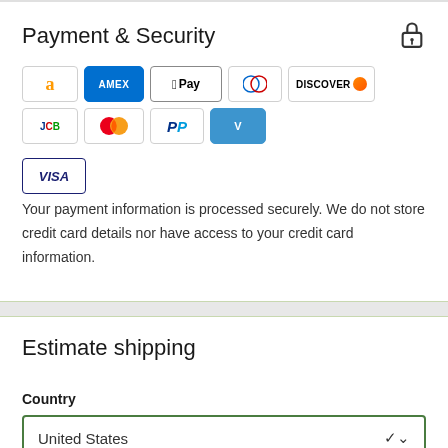Payment & Security
[Figure (logo): Payment method icons: Amazon, American Express, Apple Pay, Diners Club, Discover, JCB, Mastercard, PayPal, Venmo, Visa]
Your payment information is processed securely. We do not store credit card details nor have access to your credit card information.
Estimate shipping
Country
United States